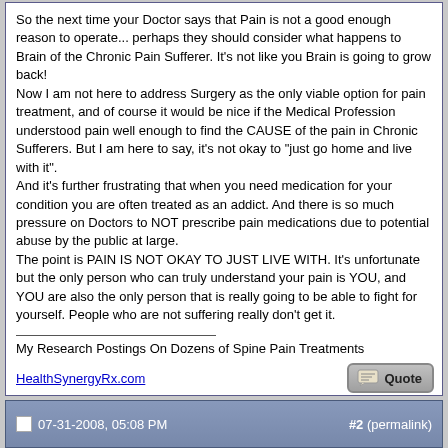So the next time your Doctor says that Pain is not a good enough reason to operate... perhaps they should consider what happens to Brain of the Chronic Pain Sufferer. It's not like you Brain is going to grow back!
Now I am not here to address Surgery as the only viable option for pain treatment, and of course it would be nice if the Medical Profession understood pain well enough to find the CAUSE of the pain in Chronic Sufferers. But I am here to say, it's not okay to "just go home and live with it".
And it's further frustrating that when you need medication for your condition you are often treated as an addict. And there is so much pressure on Doctors to NOT prescribe pain medications due to potential abuse by the public at large.
The point is PAIN IS NOT OKAY TO JUST LIVE WITH. It's unfortunate but the only person who can truly understand your pain is YOU, and YOU are also the only person that is really going to be able to fight for yourself. People who are not suffering really don't get it.
My Research Postings On Dozens of Spine Pain Treatments
HealthSynergyRx.com
07-31-2008, 05:08 PM   #2 (permalink)